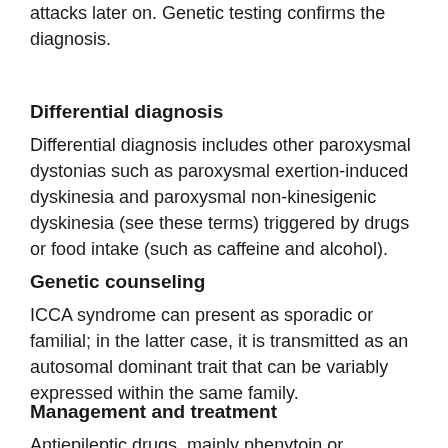attacks later on. Genetic testing confirms the diagnosis.
Differential diagnosis
Differential diagnosis includes other paroxysmal dystonias such as paroxysmal exertion-induced dyskinesia and paroxysmal non-kinesigenic dyskinesia (see these terms) triggered by drugs or food intake (such as caffeine and alcohol).
Genetic counseling
ICCA syndrome can present as sporadic or familial; in the latter case, it is transmitted as an autosomal dominant trait that can be variably expressed within the same family.
Management and treatment
Antiepileptic drugs, mainly phenytoin or carbamazepine, are effective in controlling seizures and dyskinesia during the active phase of